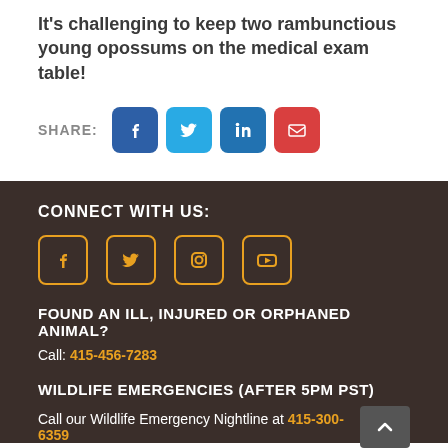It's challenging to keep two rambunctious young opossums on the medical exam table!
SHARE: [Facebook] [Twitter] [LinkedIn] [Email]
CONNECT WITH US:
[Figure (infographic): Social media icons row: Facebook, Twitter, Instagram, YouTube in orange outlined boxes]
FOUND AN ILL, INJURED OR ORPHANED ANIMAL?
Call: 415-456-7283
WILDLIFE EMERGENCIES (AFTER 5PM PST)
Call our Wildlife Emergency Nightline at 415-300-6359